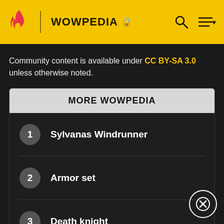WOWPEDIA
Community content is available under CC BY-SA 3.0 unless otherwise noted.
MORE WOWPEDIA
1 Sylvanas Windrunner
2 Armor set
3 Death knight